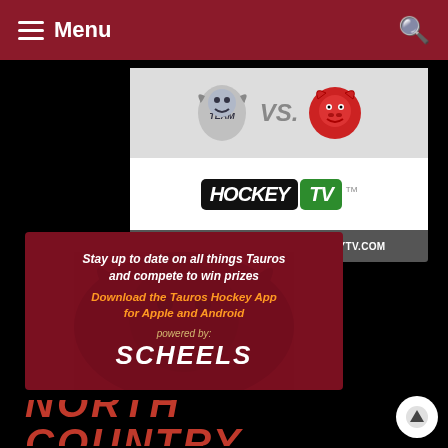Menu
[Figure (infographic): HockeyTV banner showing two team logos (blue/white hornet vs red bull) with VS. text, HockeyTV logo, and CLICK TO WATCH: WWW.HOCKEYTV.COM text]
[Figure (infographic): Tauros Hockey App advertisement: Stay up to date on all things Tauros and compete to win prizes. Download the Tauros Hockey App for Apple and Android. powered by: SCHEELS]
[Figure (infographic): NORTH COUNTRY text banner in large red italic font]